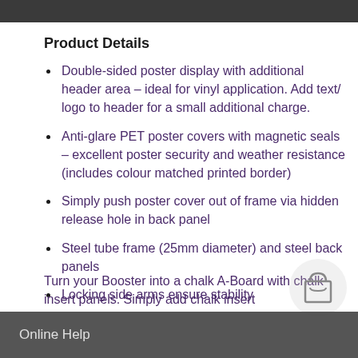[Figure (other): Dark top bar / image crop area at top of page]
Product Details
Double-sided poster display with additional header area – ideal for vinyl application. Add text/ logo to header for a small additional charge.
Anti-glare PET poster covers with magnetic seals – excellent poster security and weather resistance (includes colour matched printed border)
Simply push poster cover out of frame via hidden release hole in back panel
Steel tube frame (25mm diameter) and steel back panels
Locking side arms ensure stability
Turn your Booster into a chalk A-Board with chalk insert panels. Simply add chalk insert
Online Help